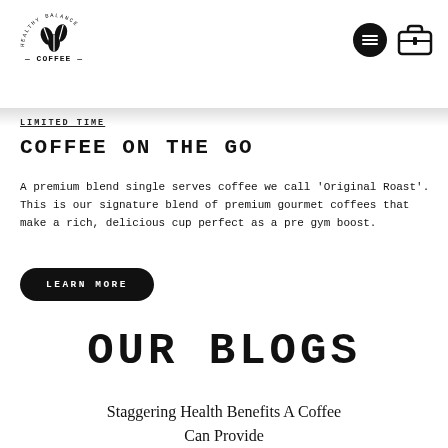[Figure (logo): Healthy Balance Coffee logo — circular badge with coffee beans icon and dashes flanking COFFEE text]
[Figure (illustration): Navigation icons: hamburger menu circle and briefcase/menu icon]
LIMITED TIME
COFFEE ON THE GO
A premium blend single serves coffee we call 'Original Roast'. This is our signature blend of premium gourmet coffees that make a rich, delicious cup perfect as a pre gym boost.
LEARN MORE
OUR BLOGS
Staggering Health Benefits A Coffee Can Provide